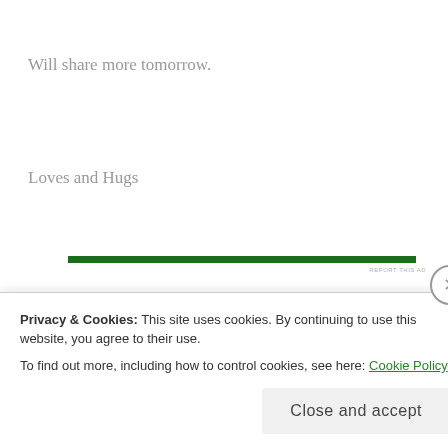Will share more tomorrow.
Loves and Hugs
[Figure (other): Green horizontal advertisement bar with 'REPORT THIS AD' label in small gray text to the right]
Privacy & Cookies: This site uses cookies. By continuing to use this website, you agree to their use.
To find out more, including how to control cookies, see here: Cookie Policy
Close and accept